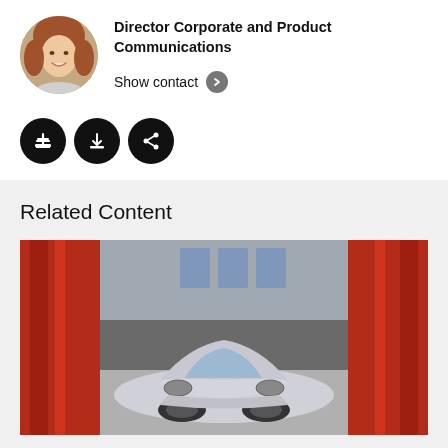[Figure (photo): Circular avatar photo of a woman with long auburn hair, smiling]
Director Corporate and Product Communications
Show contact
[Figure (infographic): Three round black action buttons: add (+), download (arrow down), and share (share icon)]
Related Content
[Figure (photo): A white Porsche sports car in a factory or showroom with red decorative panels/curtains in the background and industrial ceiling visible]